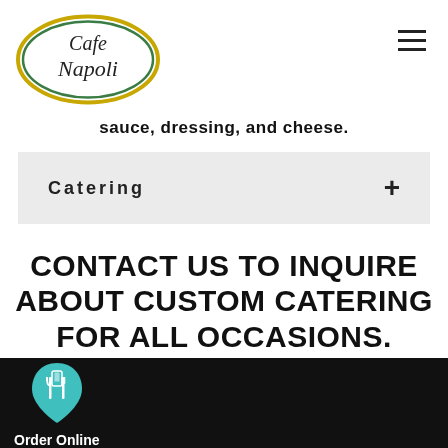[Figure (logo): Cafe Napoli script logo inside a green and gold oval ellipse]
sauce, dressing, and cheese.
Catering +
CONTACT US TO INQUIRE ABOUT CUSTOM CATERING FOR ALL OCCASIONS.
It Has Been Our Pleasure To Serve You Over The Last 25 Years.
Order Online